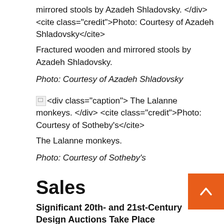mirrored stools by Azadeh Shladovsky. </div> <cite class="credit">Photo: Courtesy of Azadeh Shladovsky</cite>
Fractured wooden and mirrored stools by Azadeh Shladovsky.
Photo: Courtesy of Azadeh Shladovsky
<div class="caption"> The Lalanne monkeys. </div> <cite class="credit">Photo: Courtesy of Sotheby's</cite>
The Lalanne monkeys.
Photo: Courtesy of Sotheby's
Sales
Significant 20th- and 21st-Century Design Auctions Take Place